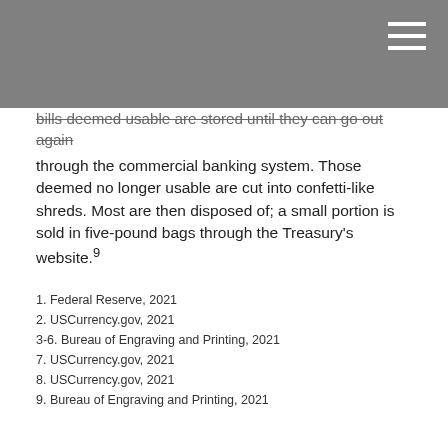bills deemed usable are stored until they can go out again through the commercial banking system. Those deemed no longer usable are cut into confetti-like shreds. Most are then disposed of; a small portion is sold in five-pound bags through the Treasury's website.9
1. Federal Reserve, 2021
2. USCurrency.gov, 2021
3-6. Bureau of Engraving and Printing, 2021
7. USCurrency.gov, 2021
8. USCurrency.gov, 2021
9. Bureau of Engraving and Printing, 2021
The content is developed from sources believed to be providing accurate information. The information in this material is not intended as tax or legal advice. It may not be used for the purpose of avoiding any federal tax penalties. Please consult legal or tax professionals for specific information regarding your individual situation. This material was developed and produced by FMG Suite to provide information on a topic that may be of interest. FMG Suite is not affiliated with the named broker-dealer, state- or SEC-registered investment advisory firm. The opinions expressed and material provided are for general information, and should not be considered a solicitation for